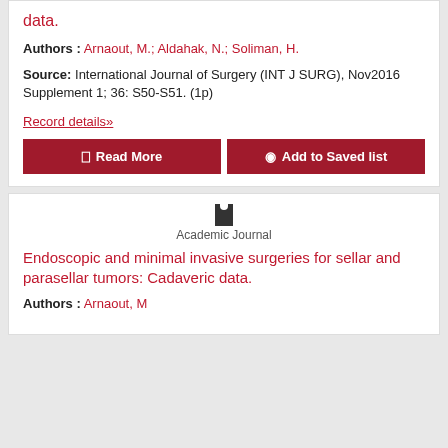data.
Authors : Arnaout, M.; Aldahak, N.; Soliman, H.
Source: International Journal of Surgery (INT J SURG), Nov2016 Supplement 1; 36: S50-S51. (1p)
Record details»
Read More | Add to Saved list
Academic Journal
Endoscopic and minimal invasive surgeries for sellar and parasellar tumors: Cadaveric data.
Authors : Arnaout, M...
Presione aqui — Pregunta al Bibliotecario